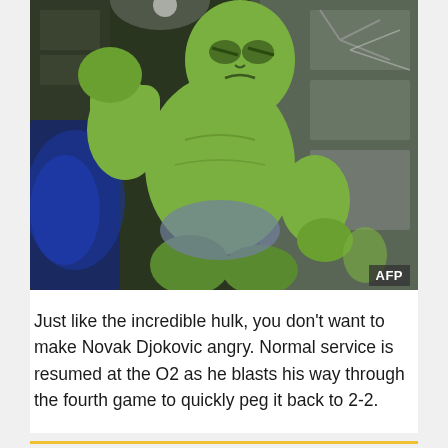[Figure (photo): A green Hulk figure smashing through a metal wall or structure, with blue lighting on the left. AFP watermark in bottom right corner.]
Just like the incredible hulk, you don't want to make Novak Djokovic angry. Normal service is resumed at the O2 as he blasts his way through the fourth game to quickly peg it back to 2-2.
16:02 15 Nov 2014